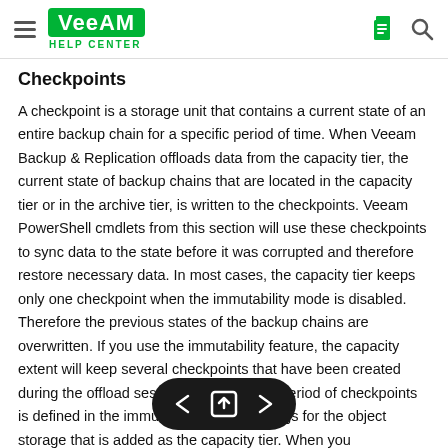Veeam Help Center
Checkpoints
A checkpoint is a storage unit that contains a current state of an entire backup chain for a specific period of time. When Veeam Backup & Replication offloads data from the capacity tier, the current state of backup chains that are located in the capacity tier or in the archive tier, is written to the checkpoints. Veeam PowerShell cmdlets from this section will use these checkpoints to sync data to the state before it was corrupted and therefore restore necessary data. In most cases, the capacity tier keeps only one checkpoint when the immutability mode is disabled. Therefore the previous states of the backup chains are overwritten. If you use the immutability feature, the capacity extent will keep several checkpoints that have been created during the offload session. The retention period of checkpoints is defined in the immutability period settings for the object storage that is added as the capacity tier. When you sync checkpoints with the Veeam PowerShell, you might want to get details on the time